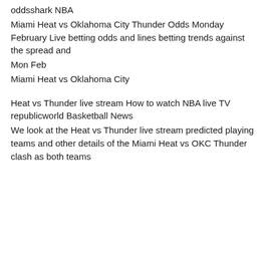oddsshark NBA
Miami Heat vs Oklahoma City Thunder Odds Monday February Live betting odds and lines betting trends against the spread and
Mon Feb
Miami Heat vs Oklahoma City
Heat vs Thunder live stream How to watch NBA live TV republicworld Basketball News
We look at the Heat vs Thunder live stream predicted playing teams and other details of the Miami Heat vs OKC Thunder clash as both teams